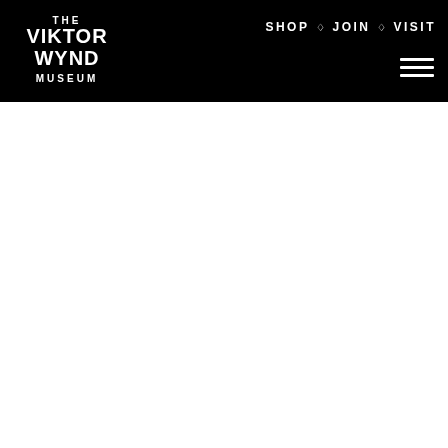THE VIKTOR WYND MUSEUM — SHOP ◇ JOIN ◇ VISIT
[Figure (logo): The Viktor Wynd Museum logo in white on black background, stylized art deco lettering]